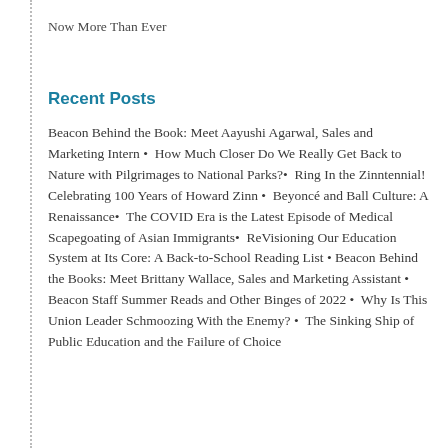Now More Than Ever
Recent Posts
Beacon Behind the Book: Meet Aayushi Agarwal, Sales and Marketing Intern •  How Much Closer Do We Really Get Back to Nature with Pilgrimages to National Parks? •  Ring In the Zinntennial! Celebrating 100 Years of Howard Zinn •  Beyoncé and Ball Culture: A Renaissance •  The COVID Era is the Latest Episode of Medical Scapegoating of Asian Immigrants •  ReVisioning Our Education System at Its Core: A Back-to-School Reading List •  Beacon Behind the Books: Meet Brittany Wallace, Sales and Marketing Assistant •  Beacon Staff Summer Reads and Other Binges of 2022 •  Why Is This Union Leader Schmoozing With the Enemy? •  The Sinking Ship of Public Education and the Failure of Choice